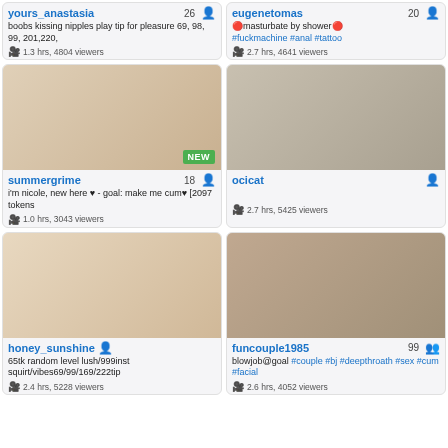[Figure (photo): Webcam thumbnail for yours_anastasia]
yours_anastasia 26
boobs kissing nipples play tip for pleasure 69, 98, 99, 201,220,
1.3 hrs, 4804 viewers
[Figure (photo): Webcam thumbnail for eugenetomas]
eugenetomas 20
🔴masturbate by shower🔴 #fuckmachine #anal #tattoo
2.7 hrs, 4641 viewers
[Figure (photo): Webcam thumbnail for summergrime - NEW badge]
summergrime 18
i'm nicole, new here ♥ - goal: make me cum♥ [2097 tokens
1.0 hrs, 3043 viewers
[Figure (photo): Webcam thumbnail for ocicat]
ocicat
2.7 hrs, 5425 viewers
[Figure (photo): Webcam thumbnail for honey_sunshine]
honey_sunshine
65tk random level lush/999inst squirt/vibes69/99/169/222tip
2.4 hrs, 5228 viewers
[Figure (photo): Webcam thumbnail for funcouple1985]
funcouple1985 99
blowjob@goal #couple #bj #deepthroath #sex #cum #facial
2.6 hrs, 4052 viewers